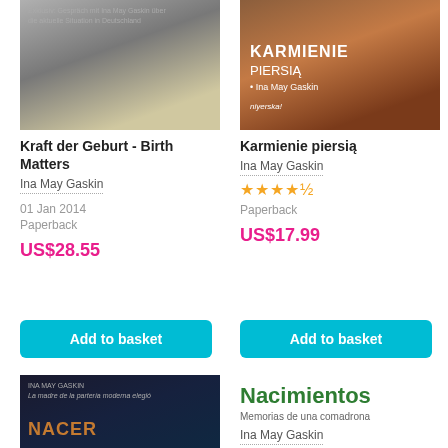[Figure (photo): Book cover of Kraft der Geburt - Birth Matters, black and white photo of woman]
[Figure (photo): Book cover of Karmienie piersią showing a breastfeeding mother and baby]
Kraft der Geburt - Birth Matters
Ina May Gaskin
01 Jan 2014
Paperback
US$28.55
Karmienie piersią
Ina May Gaskin
★★★★½
Paperback
US$17.99
Add to basket
Add to basket
[Figure (photo): Book cover of Nacer by Ina May Gaskin, dark blue cover with orange title]
Nacimientos
Memorias de una comadrona
Ina May Gaskin